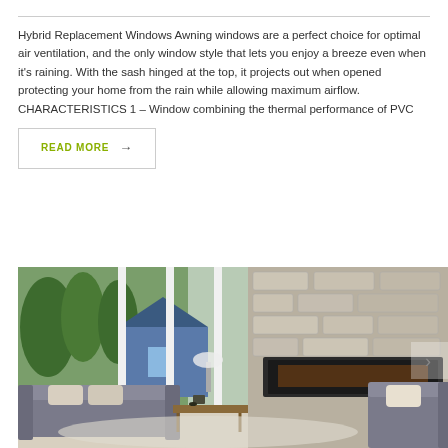Hybrid Replacement Windows Awning windows are a perfect choice for optimal air ventilation, and the only window style that lets you enjoy a breeze even when it's raining. With the sash hinged at the top, it projects out when opened protecting your home from the rain while allowing maximum airflow. CHARACTERISTICS 1 – Window combining the thermal performance of PVC
READ MORE →
[Figure (photo): Interior living room photo showing large white-framed windows overlooking trees and a blue house, with a stone fireplace wall, modern gray sofas, coffee table, and a light rug.]